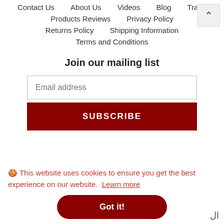Contact Us   About Us   Videos   Blog   Trade
Products Reviews   Privacy Policy
Returns Policy   Shipping Information
Terms and Conditions
Join our mailing list
Email address
SUBSCRIBE
🍪 This website uses cookies to ensure you get the best experience on our website. Learn more
Got it!